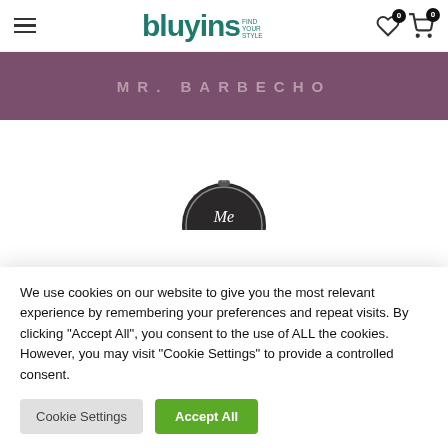bluyins — navigation bar with hamburger menu, wishlist (0) and cart (0) icons
MR. BARBECHO
[Figure (logo): Circular dark badge logo with 'Me' script lettering]
We use cookies on our website to give you the most relevant experience by remembering your preferences and repeat visits. By clicking "Accept All", you consent to the use of ALL the cookies. However, you may visit "Cookie Settings" to provide a controlled consent.
Cookie Settings | Accept All